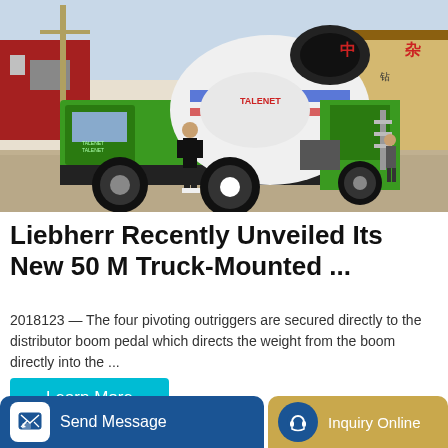[Figure (photo): Photo of a green Talenet self-loading concrete mixer truck. A person stands in front of the truck in an industrial/yard setting. Chinese writing visible on nearby structures and buildings in the background.]
Liebherr Recently Unveiled Its New 50 M Truck-Mounted ...
2018123 — The four pivoting outriggers are secured directly to the distributor boom pedal which directs the weight from the boom directly into the ...
Learn More
Send Message
Inquiry Online